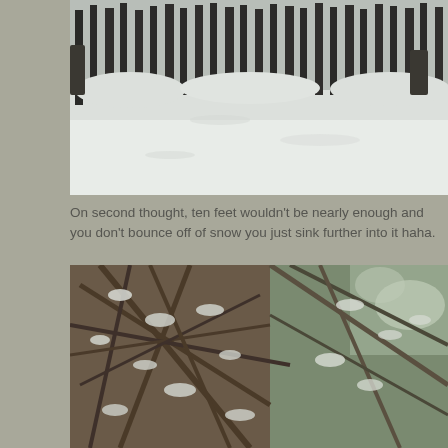[Figure (photo): Winter forest scene with snow-covered ground and dark tree trunks in the background. Snow has fresh tracks across it. Trees are dense pine/spruce in the background.]
On second thought, ten feet wouldn't be nearly enough and you don't bounce off of snow you just sink further into it haha.
[Figure (photo): Looking up through snow-covered tree branches. Left side is sepia-toned showing bare branches heavy with snow, right side shows green conifer branches with lighter snow cover and sky visible through gaps.]